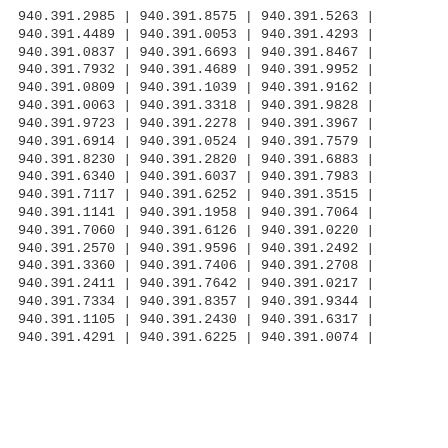940.391.2985 | 940.391.8575 | 940.391.5263 |
940.391.4489 | 940.391.0053 | 940.391.4293 |
940.391.0837 | 940.391.6693 | 940.391.8467 |
940.391.7932 | 940.391.4689 | 940.391.9952 |
940.391.0809 | 940.391.1039 | 940.391.9162 |
940.391.0063 | 940.391.3318 | 940.391.9828 |
940.391.9723 | 940.391.2278 | 940.391.3967 |
940.391.6914 | 940.391.0524 | 940.391.7579 |
940.391.8230 | 940.391.2820 | 940.391.6883 |
940.391.6340 | 940.391.6037 | 940.391.7983 |
940.391.7117 | 940.391.6252 | 940.391.3515 |
940.391.1141 | 940.391.1958 | 940.391.7064 |
940.391.7060 | 940.391.6126 | 940.391.0220 |
940.391.2570 | 940.391.9596 | 940.391.2492 |
940.391.3360 | 940.391.7406 | 940.391.2708 |
940.391.2411 | 940.391.7642 | 940.391.0217 |
940.391.7334 | 940.391.8357 | 940.391.9344 |
940.391.1105 | 940.391.2430 | 940.391.6317 |
940.391.4291 | 940.391.6225 | 940.391.0074 |